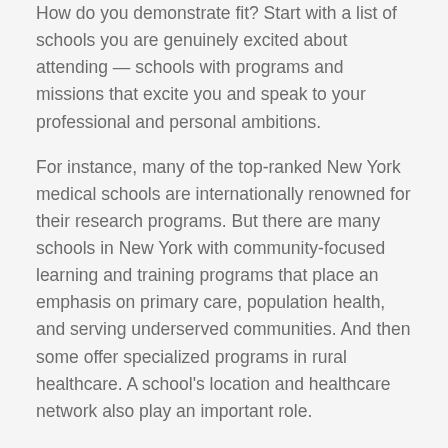How do you demonstrate fit? Start with a list of schools you are genuinely excited about attending — schools with programs and missions that excite you and speak to your professional and personal ambitions.
For instance, many of the top-ranked New York medical schools are internationally renowned for their research programs. But there are many schools in New York with community-focused learning and training programs that place an emphasis on primary care, population health, and serving underserved communities. And then some offer specialized programs in rural healthcare. A school's location and healthcare network also play an important role.
Overall, New York medical schools represent a wide range of focus and interests.
However, demonstrating fit for a medical school requires more than genuine interest. You need to show admissions your dedication and fly...